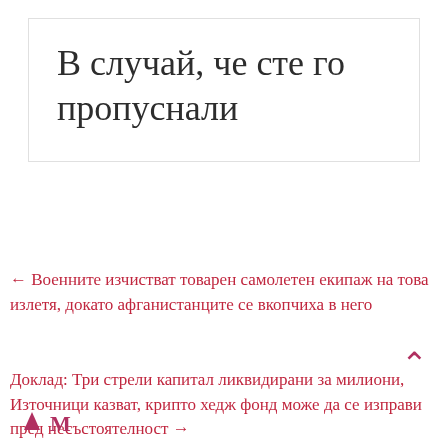В случай, че сте го пропуснали
← Военните изчистват товарен самолетен екипаж на това излетя, докато афганистанците се вкопчиха в него
Доклад: Три стрели капитал ликвидирани за милиони, Източници казват, крипто хедж фонд може да се изправи пред несъстоятелност →